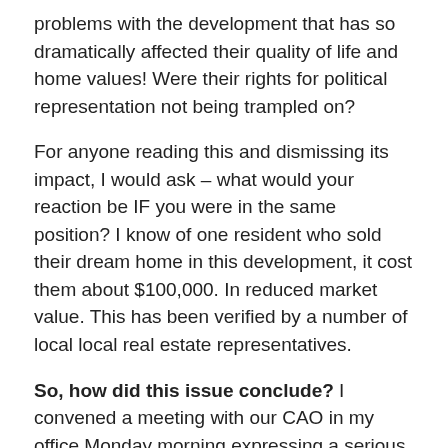problems with the development that has so dramatically affected their quality of life and home values! Were their rights for political representation not being trampled on?
For anyone reading this and dismissing its impact, I would ask – what would your reaction be IF you were in the same position? I know of one resident who sold their dream home in this development, it cost them about $100,000. In reduced market value. This has been verified by a number of local local real estate representatives.
So, how did this issue conclude? I convened a meeting with our CAO in my office Monday morning expressing a serious concern about going forward with this application for 4th reading and Development Permit stage that evening. I was told that our lawyers had agreed with staff and concluded the changes were nothing more than